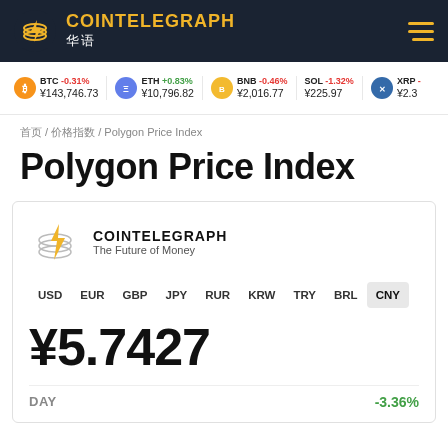COINTELEGRAPH 华语
BTC -0.31% ¥143,746.73 | ETH +0.83% ¥10,796.82 | BNB -0.46% ¥2,016.77 | SOL -1.32% ¥225.97 | XRP -
首页 / 价格指数 / Polygon Price Index
Polygon Price Index
[Figure (logo): Cointelegraph logo with tagline 'The Future of Money']
USD EUR GBP JPY RUR KRW TRY BRL CNY
¥5.7427
DAY -3.36%